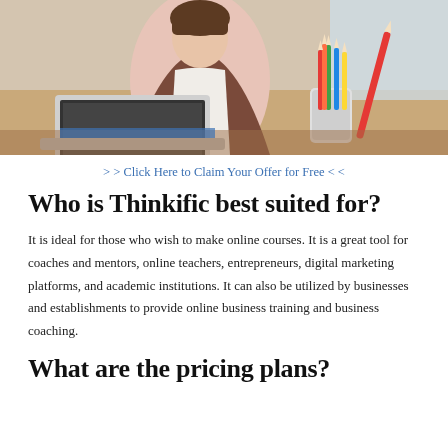[Figure (photo): Person sitting at a desk with a laptop and a cup holding colored pencils, educational setting]
> > Click Here to Claim Your Offer for Free < <
Who is Thinkific best suited for?
It is ideal for those who wish to make online courses. It is a great tool for coaches and mentors, online teachers, entrepreneurs, digital marketing platforms, and academic institutions. It can also be utilized by businesses and establishments to provide online business training and business coaching.
What are the pricing plans?